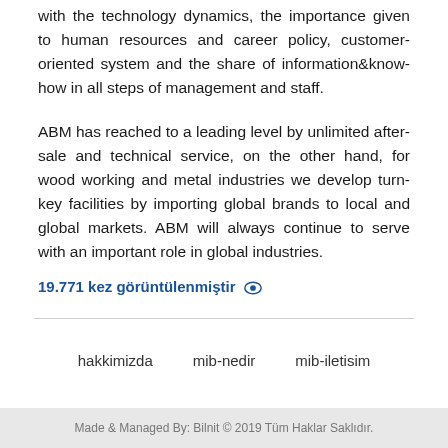with the technology dynamics, the importance given to human resources and career policy, customer-oriented system and the share of information&know-how in all steps of management and staff.
ABM has reached to a leading level by unlimited after-sale and technical service, on the other hand, for wood working and metal industries we develop turn-key facilities by importing global brands to local and global markets. ABM will always continue to serve with an important role in global industries.
19.771 kez görüntülenmiştir 👁
Made & Managed By: Bilnit © 2019 Tüm Haklar Saklıdır.